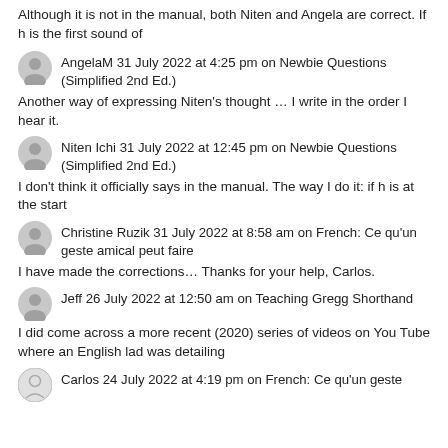Although it is not in the manual, both Niten and Angela are correct. If h is the first sound of
AngelaM 31 July 2022 at 4:25 pm on Newbie Questions (Simplified 2nd Ed.)
Another way of expressing Niten's thought …  I write in the order I hear it.
Niten Ichi 31 July 2022 at 12:45 pm on Newbie Questions (Simplified 2nd Ed.)
I don't think it officially says in the manual. The way I do it: if h is at the start
Christine Ruzik 31 July 2022 at 8:58 am on French: Ce qu'un geste amical peut faire
I have made the corrections… Thanks for your help, Carlos.
Jeff 26 July 2022 at 12:50 am on Teaching Gregg Shorthand
I did come across a more recent (2020) series of videos on You Tube where an English lad was detailing
Carlos 24 July 2022 at 4:19 pm on French: Ce qu'un geste